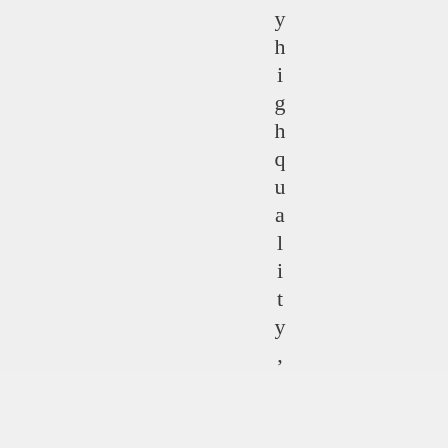yhighquality,
Advertisements
[Figure (other): Advertisement banner with dark navy background. Left side reads 'Your site. Built by us. Built for you.' Right side reads 'Built By' with a WordPress logo circle.]